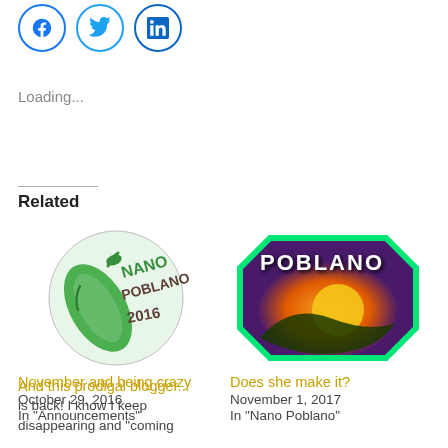[Figure (other): Social share icons: Facebook (circle, blue), Twitter (circle, blue), LinkedIn (circle, blue)]
Loading...
Related
[Figure (illustration): Nano Poblano 2016 logo: circular badge with green pepper and text 'NANO POBLANO 2016']
November and being crazy
October 29, 2016
In "Announcements"
[Figure (illustration): Poblano logo: octagonal badge with text 'POBLANO' in green on purple/sunset background with pepper silhouette]
Does she make it?
November 1, 2017
In "Nano Poblano"
And this prodigal blogger...
is back! I know I keep disappearing and "coming